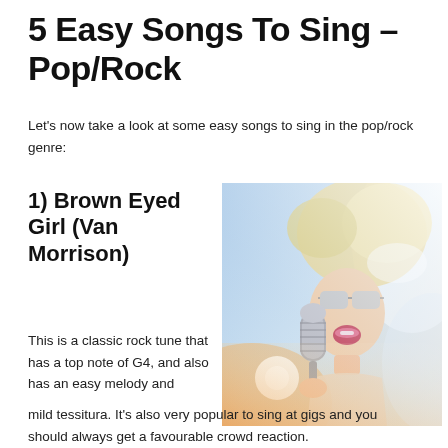5 Easy Songs To Sing – Pop/Rock
Let's now take a look at some easy songs to sing in the pop/rock genre:
1) Brown Eyed Girl (Van Morrison)
[Figure (photo): A blonde woman with sunglasses singing passionately into a vintage microphone, backlit with warm and cool light.]
This is a classic rock tune that has a top note of G4, and also has an easy melody and mild tessitura. It's also very popular to sing at gigs and you should always get a favourable crowd reaction.